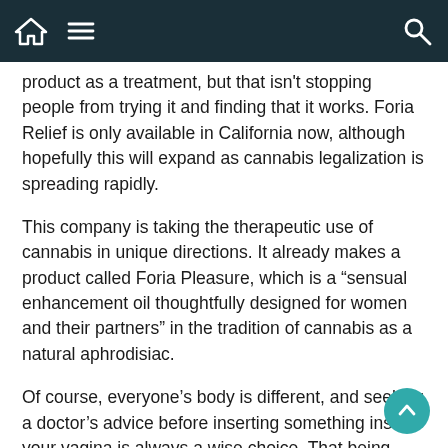Navigation bar with home, menu, and search icons
product as a treatment, but that isn't stopping people from trying it and finding that it works. Foria Relief is only available in California now, although hopefully this will expand as cannabis legalization is spreading rapidly.
This company is taking the therapeutic use of cannabis in unique directions. It already makes a product called Foria Pleasure, which is a “sensual enhancement oil thoughtfully designed for women and their partners” in the tradition of cannabis as a natural aphrodisiac.
Of course, everyone’s body is different, and seeking a doctor’s advice before inserting something inside your vagina is always a wise choice. That being said, the testimonials about Foria Relief are plentiful and full of praise.
Via: healthiestalternative.com